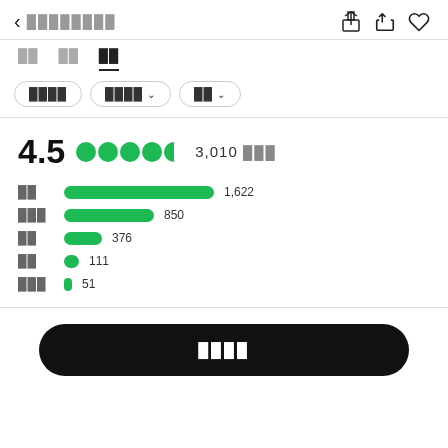<
3,010
[Figure (bar-chart): Rating breakdown]